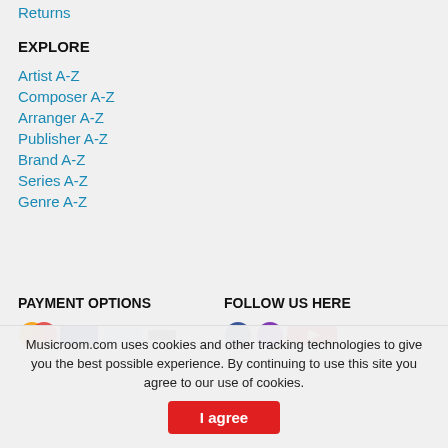Returns
EXPLORE
Artist A-Z
Composer A-Z
Arranger A-Z
Publisher A-Z
Brand A-Z
Series A-Z
Genre A-Z
PAYMENT OPTIONS
FOLLOW US HERE
Musicroom.com uses cookies and other tracking technologies to give you the best possible experience. By continuing to use this site you agree to our use of cookies.
I agree